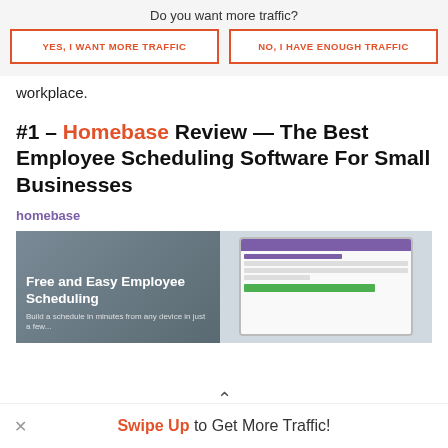Do you want more traffic?
YES, I WANT MORE TRAFFIC
NO, I HAVE ENOUGH TRAFFIC
workplace.
#1 – Homebase Review — The Best Employee Scheduling Software For Small Businesses
homebase
[Figure (screenshot): Homebase employee scheduling software screenshot showing a web interface with purple header and scheduling grid, alongside a blurred restaurant/cafe background with text 'Free and Easy Employee Scheduling']
Swipe Up to Get More Traffic!